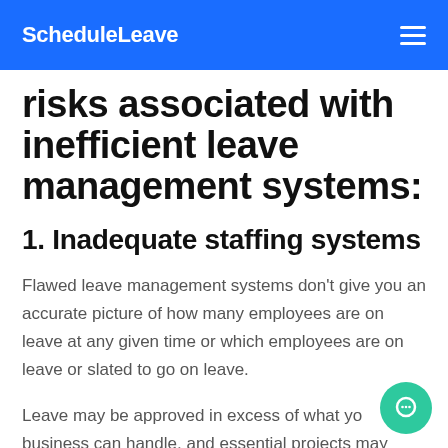ScheduleLeave
risks associated with inefficient leave management systems:
1. Inadequate staffing systems
Flawed leave management systems don't give you an accurate picture of how many employees are on leave at any given time or which employees are on leave or slated to go on leave.
Leave may be approved in excess of what your business can handle, and essential projects may